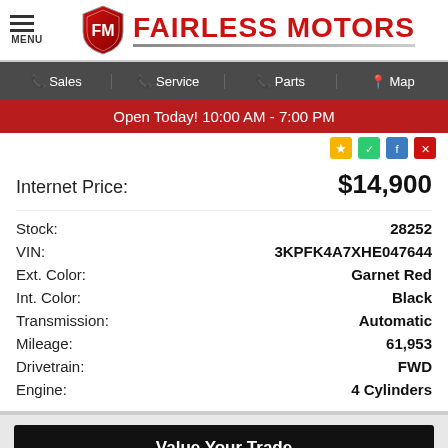[Figure (logo): Fairless Motors logo with FM shield and red text]
Sales | Service | Parts | Map
Open Today! 10:00 AM - 7:00 PM
Internet Price: $14,900
| Field | Value |
| --- | --- |
| Stock: | 28252 |
| VIN: | 3KPFK4A7XHE047644 |
| Ext. Color: | Garnet Red |
| Int. Color: | Black |
| Transmission: | Automatic |
| Mileage: | 61,953 |
| Drivetrain: | FWD |
| Engine: | 4 Cylinders |
Value Your Trade
Get Approved